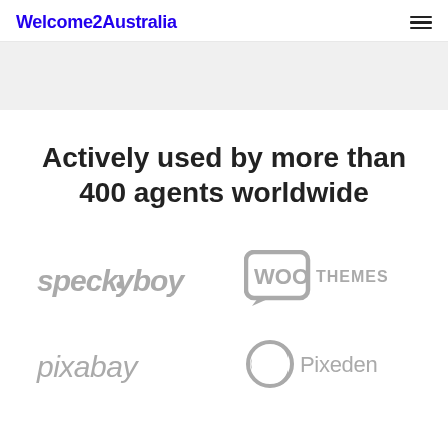Welcome2Australia
Actively used by more than 400 agents worldwide
[Figure (logo): speckyboy logo in grey]
[Figure (logo): WooThemes logo in grey]
[Figure (logo): pixabay logo in grey]
[Figure (logo): Pixeden logo in grey]